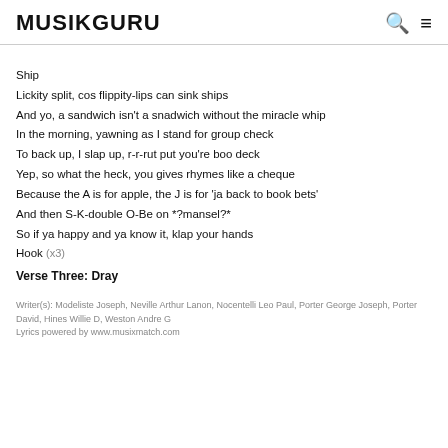MUSIKGURU
Ship
Lickity split, cos flippity-lips can sink ships
And yo, a sandwich isn't a snadwich without the miracle whip
In the morning, yawning as I stand for group check
To back up, I slap up, r-r-rut put you're boo deck
Yep, so what the heck, you gives rhymes like a cheque
Because the A is for apple, the J is for 'ja back to book bets'
And then S-K-double O-Be on *?mansel?*
So if ya happy and ya know it, klap your hands
Hook (x3)
Verse Three: Dray
Writer(s): Modeliste Joseph, Neville Arthur Lanon, Nocentelli Leo Paul, Porter George Joseph, Porter David, Hines Willie D, Weston Andre G
Lyrics powered by www.musixmatch.com